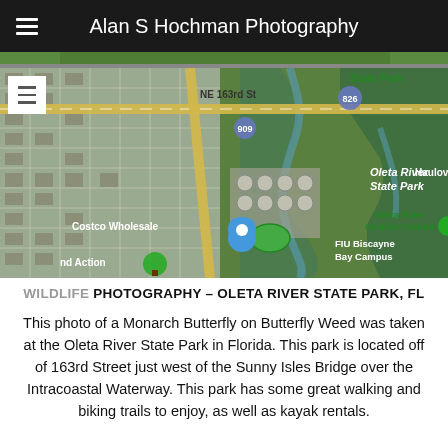Alan S Hochman Photography
[Figure (map): Satellite/aerial Google Maps view showing Oleta River State Park in Florida, with labels including NE 163rd St, State Park, Oleta River State Park, Haulove, Oleta River Outdoor Center, FIU Biscayne Bay Campus, Costco Wholesale, and road markers 826, 909. A blue shopping/location pin marker is visible near Costco Wholesale. A hamburger menu icon appears in the top-left of the map.]
WILDLIFE PHOTOGRAPHY – OLETA RIVER STATE PARK, FL
This photo of a Monarch Butterfly on Butterfly Weed was taken at the Oleta River State Park in Florida. This park is located off of 163rd Street just west of the Sunny Isles Bridge over the Intracoastal Waterway. This park has some great walking and biking trails to enjoy, as well as kayak rentals.